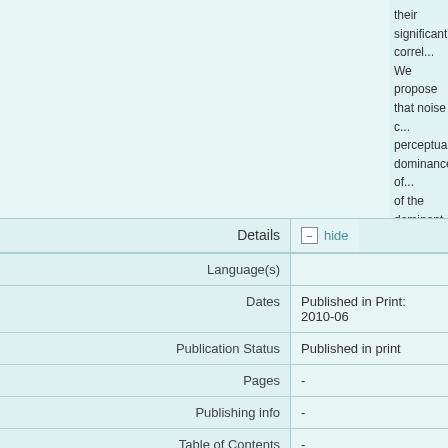their significantly correlated... We propose that noise perceptual dominance of the dominant neuron... demonstration of the co... previously suggested by...
| Field | Value |
| --- | --- |
| Language(s) |  |
| Dates | Published in Print: 2010-06 |
| Publication Status | Published in print |
| Pages | - |
| Publishing info | - |
| Table of Contents | - |
| Rev. Type | - |
| Identifiers | BibTex Citekey: 6817 |
| Degree | - |
| Field | Value |
| --- | --- |
| Title | AREADNE 2010: Rese... |
| Place of Event | Santorini, Greece |
| Start-/End Date | 2010-06-17 - 2010-06-2... |